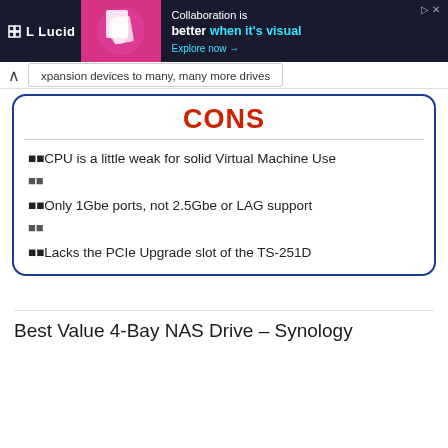[Figure (screenshot): Lucid advertisement banner with dark background, magenta graphic, and text 'Collaboration is better when it's visual. Explore now →']
xpansion devices to many, many more drives
CONS
🟦🟦CPU is a little weak for solid Virtual Machine Use
🟦🟦
🟦🟦Only 1Gbe ports, not 2.5Gbe or LAG support
🟦🟦
🟦🟦Lacks the PCIe Upgrade slot of the TS-251D
Best Value 4-Bay NAS Drive – Synology